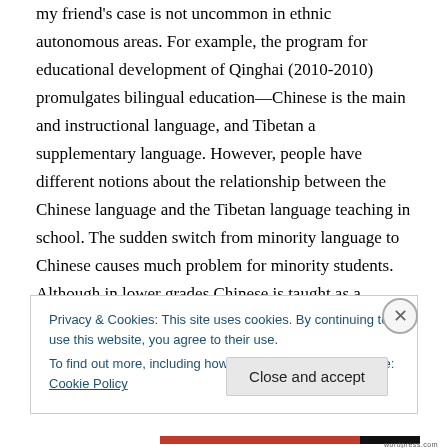my friend's case is not uncommon in ethnic autonomous areas. For example, the program for educational development of Qinghai (2010-2010) promulgates bilingual education—Chinese is the main and instructional language, and Tibetan a supplementary language. However, people have different notions about the relationship between the Chinese language and the Tibetan language teaching in school. The sudden switch from minority language to Chinese causes much problem for minority students. Although in lower grades Chinese is taught as a second language, many minority students do
Privacy & Cookies: This site uses cookies. By continuing to use this website, you agree to their use.
To find out more, including how to control cookies, see here: Cookie Policy
Close and accept